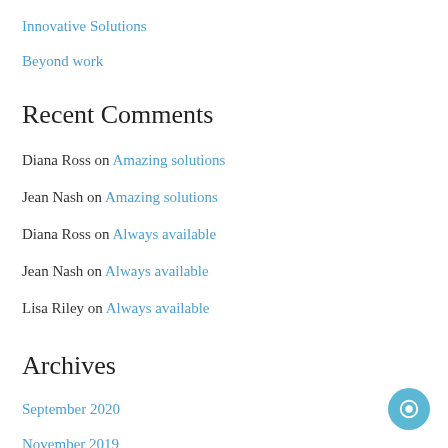Innovative Solutions
Beyond work
Recent Comments
Diana Ross on Amazing solutions
Jean Nash on Amazing solutions
Diana Ross on Always available
Jean Nash on Always available
Lisa Riley on Always available
Archives
September 2020
November 2019